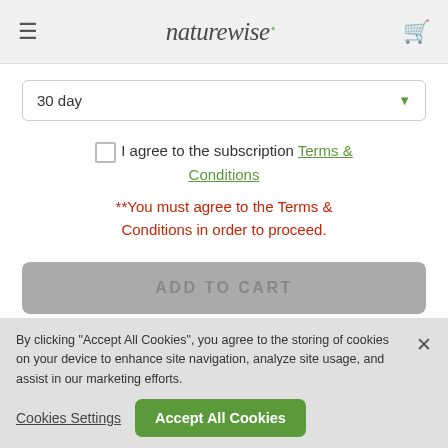naturewise
30 day
I agree to the subscription Terms & Conditions
**You must agree to the Terms & Conditions in order to proceed.
ADD TO CART
Free Shipping & Returns
By clicking "Accept All Cookies", you agree to the storing of cookies on your device to enhance site navigation, analyze site usage, and assist in our marketing efforts.
Cookies Settings
Accept All Cookies